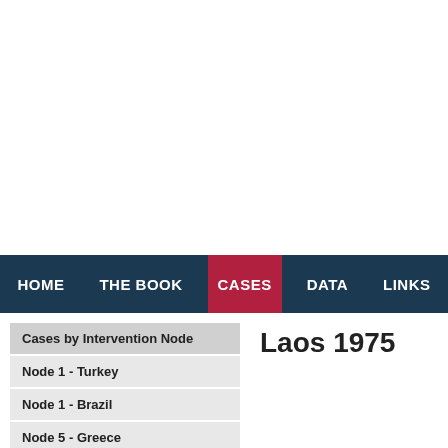HOME | THE BOOK | CASES | DATA | LINKS
Cases by Intervention Node
Node 1 - Turkey
Node 1 - Brazil
Node 5 - Greece
Node 5 - Philippines
Laos 1975